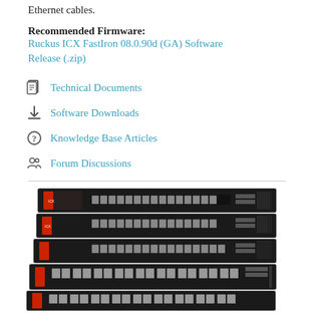Ethernet cables.
Recommended Firmware:
Ruckus ICX FastIron 08.0.90d (GA) Software Release (.zip)
Technical Documents
Software Downloads
Knowledge Base Articles
Forum Discussions
[Figure (photo): Stack of Ruckus ICX network switches, showing 5 rack-mounted units stacked vertically, each with multiple Ethernet ports on the front panel.]